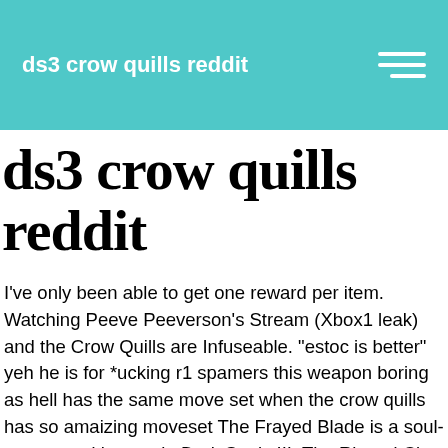ds3 crow quills reddit
ds3 crow quills reddit
I've only been able to get one reward per item. Watching Peeve Peeverson's Stream (Xbox1 leak) and the Crow Quills are Infuseable. "estoc is better" yeh he is for *ucking r1 spamers this weapon boring as hell has the same move set when the crow quills has so amaizing moveset The Frayed Blade is a soul-transposed katana in Dark Souls III: The Ringed City. ds3 crescent axe any good. Giving it a shriving stone will give you the I'm sorry carving. After travelling to the new area, activate The Dreg Heap bonfire. 1 black fire bomb will only yield 1 titanite chunk. Required fields are